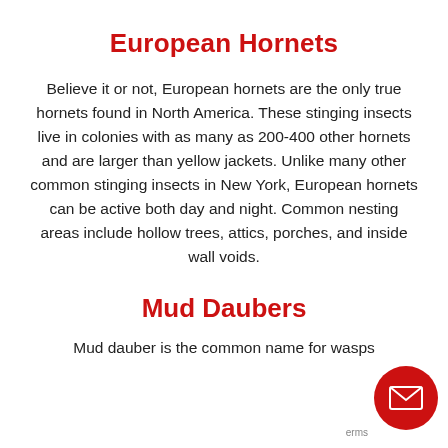European Hornets
Believe it or not, European hornets are the only true hornets found in North America. These stinging insects live in colonies with as many as 200-400 other hornets and are larger than yellow jackets. Unlike many other common stinging insects in New York, European hornets can be active both day and night. Common nesting areas include hollow trees, attics, porches, and inside wall voids.
Mud Daubers
Mud dauber is the common name for wasps